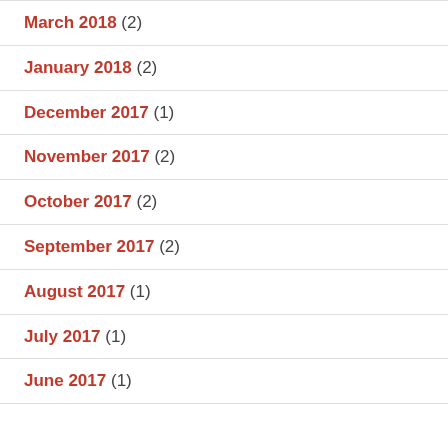March 2018 (2)
January 2018 (2)
December 2017 (1)
November 2017 (2)
October 2017 (2)
September 2017 (2)
August 2017 (1)
July 2017 (1)
June 2017 (1)